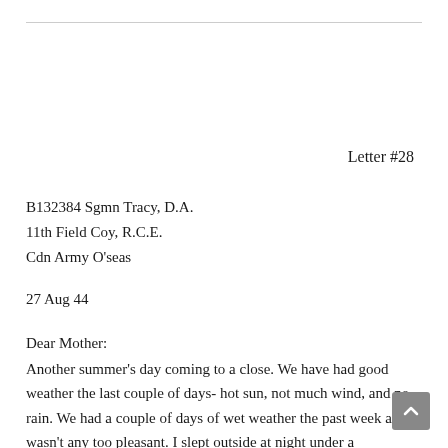Letter #28
B132384 Sgmn Tracy, D.A.
11th Field Coy, R.C.E.
Cdn Army O'seas
27 Aug 44
Dear Mother:
Another summer's day coming to a close. We have had good weather the last couple of days- hot sun, not much wind, and no rain. We had a couple of days of wet weather the past week and it wasn't any too pleasant. I slept outside at night under a